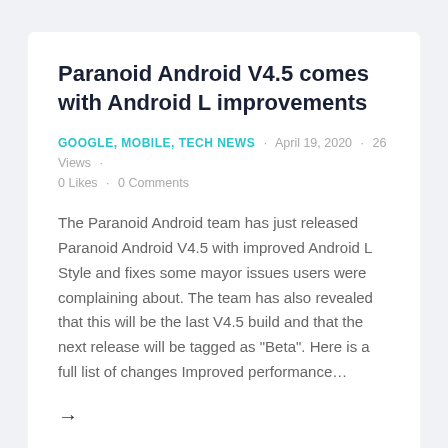Paranoid Android V4.5 comes with Android L improvements
GOOGLE, MOBILE, TECH NEWS · April 19, 2020 · 26 Views · 0 Likes · 0 Comments
The Paranoid Android team has just released Paranoid Android V4.5 with improved Android L Style and fixes some mayor issues users were complaining about. The team has also revealed that this will be the last V4.5 build and that the next release will be tagged as "Beta". Here is a full list of changes Improved performance…
→